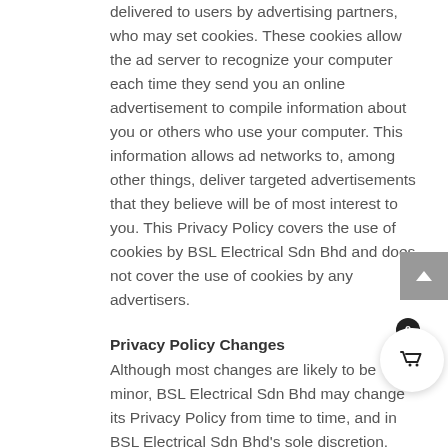delivered to users by advertising partners, who may set cookies. These cookies allow the ad server to recognize your computer each time they send you an online advertisement to compile information about you or others who use your computer. This information allows ad networks to, among other things, deliver targeted advertisements that they believe will be of most interest to you. This Privacy Policy covers the use of cookies by BSL Electrical Sdn Bhd and does not cover the use of cookies by any advertisers.
Privacy Policy Changes
Although most changes are likely to be minor, BSL Electrical Sdn Bhd may change its Privacy Policy from time to time, and in BSL Electrical Sdn Bhd's sole discretion. BSL Electrical Sdn Bhd encourages visitors to frequently check this page for any changes to its Privacy Policy. If you have a bslelectrical.com account, you might also receive an update informing